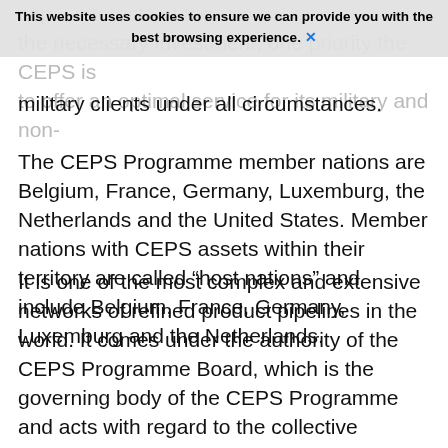This website uses cookies to ensure we can provide you with the best browsing experience. X
military clients under all circumstances.
The CEPS Programme member nations are Belgium, France, Germany, Luxemburg, the Netherlands and the United States. Member nations with CEPS assets within their territory are called “host nations” and include Belgium, France, Germany, Luxemburg and the Netherlands.
It is one of the most complex and extensive networks of refined product pipelines in the world. It comes under the authority of the CEPS Programme Board, which is the governing body of the CEPS Programme and acts with regard to the collective interests of NATO and all member countries participating in the CEPS programme.  The CEPS is managed, on a daily basis by the CEPS Programme Office (CEPS PO), which is the executive arm of the CEPS Programme and an integral part of the NATO Support and Procurement Agency